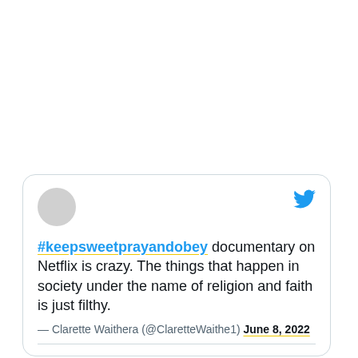[Figure (screenshot): A tweet card from Twitter/X. Contains a gray circular avatar placeholder on the left, a blue Twitter bird icon on the right. Tweet text reads: '#keepsweetprayandobey documentary on Netflix is crazy. The things that happen in society under the name of religion and faith is just filthy.' Attribution: — Clarette Waithera (@ClaretteWaithe1) June 8, 2022. The hashtag and date are underlined in yellow.]